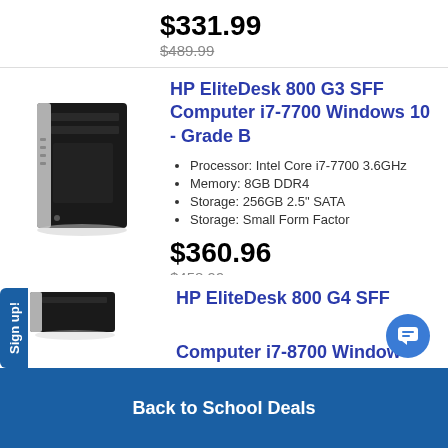$331.99
$489.99 (strikethrough)
[Figure (photo): HP EliteDesk 800 G3 SFF Desktop computer, black and silver, front view]
HP EliteDesk 800 G3 SFF Computer i7-7700 Windows 10 - Grade B
Processor: Intel Core i7-7700 3.6GHz
Memory: 8GB DDR4
Storage: 256GB 2.5" SATA
Storage: Small Form Factor
$360.96
$458.99 (strikethrough)
HP EliteDesk 800 G4 SFF Computer i7-8700 Windows -
Back to School Deals